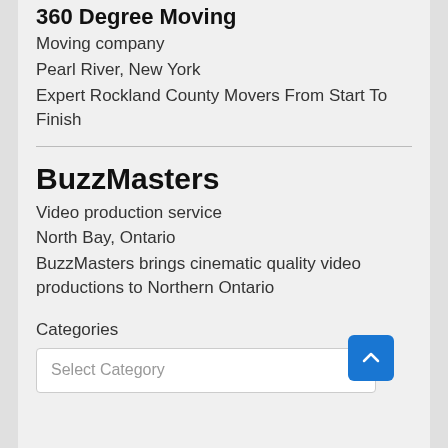360 Degree Moving
Moving company
Pearl River, New York
Expert Rockland County Movers From Start To Finish
BuzzMasters
Video production service
North Bay, Ontario
BuzzMasters brings cinematic quality video productions to Northern Ontario
Categories
Select Category